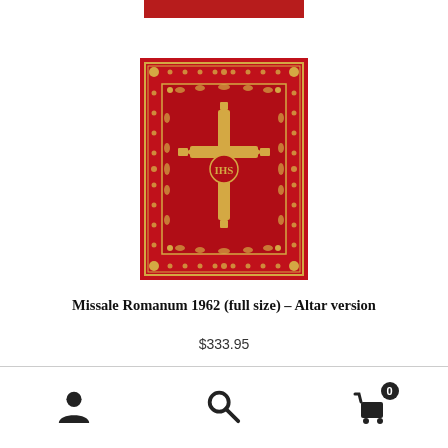[Figure (photo): Red hardcover book (Missale Romanum 1962) with ornate golden cross and floral border pattern on the cover.]
Missale Romanum 1962 (full size) – Altar version
$333.95